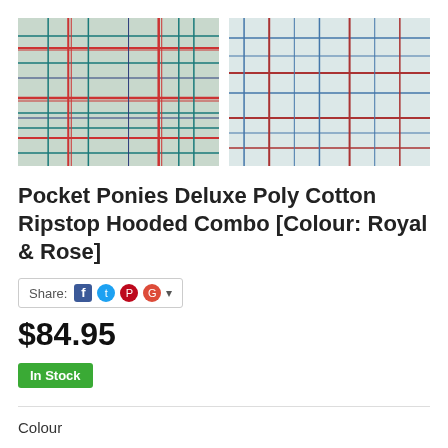[Figure (photo): Two side-by-side photos of plaid fabric. Left: white/light green fabric with red and teal/dark blue plaid pattern. Right: light blue/white fabric with red and blue thin stripe plaid pattern.]
Pocket Ponies Deluxe Poly Cotton Ripstop Hooded Combo [Colour: Royal & Rose]
Share: [Facebook] [Twitter] [Pinterest] [Google+] ▾
$84.95
In Stock
Colour